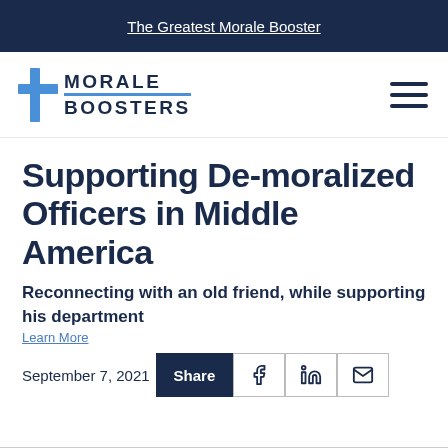The Greatest Morale Booster
[Figure (logo): Morale Boosters logo with blue cross icon and bold text MORALE BOOSTERS]
Supporting De-moralized Officers in Middle America
Reconnecting with an old friend, while supporting his department
September 7, 2021